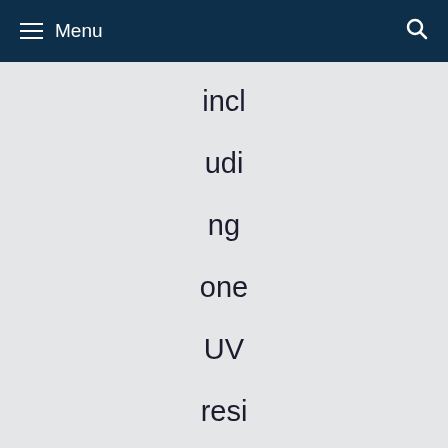Menu
including one UV resin printer. We are currently